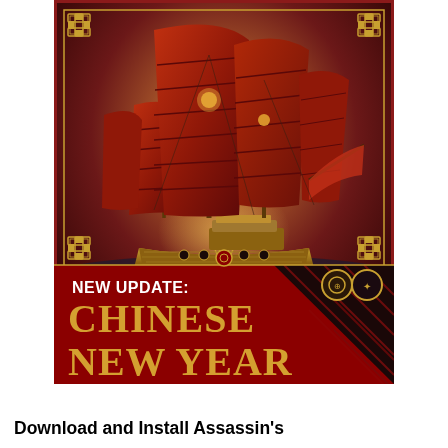[Figure (illustration): Game promotional image showing a large Chinese junk sailing ship with deep red sails on dark waters, with a gold and red decorative border frame with corner ornaments. Bottom portion shows a dark red panel with 'NEW UPDATE: CHINESE NEW YEAR' text in white and gold, with two circular coin icons and a red geometric pattern in the lower right corner.]
Download and Install Assassin's